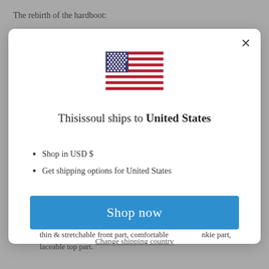The rebirth of the hardboot:
[Figure (screenshot): Modal dialog popup showing a US flag icon, text 'Thisissoul ships to United States', bullet points for USD and shipping options, a blue 'Shop now' button, and a 'Change shipping country' link with a close X button]
thin & stretchable front part, comfortable ankle part, laceable top part.